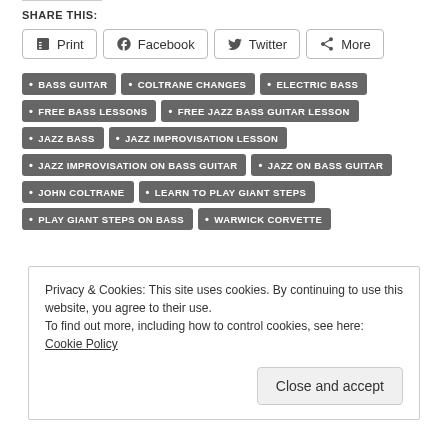SHARE THIS:
Print | Facebook | Twitter | More
BASS GUITAR
COLTRANE CHANGES
ELECTRIC BASS
FREE BASS LESSONS
FREE JAZZ BASS GUITAR LESSON
JAZZ BASS
JAZZ IMPROVISATION LESSON
JAZZ IMPROVISATION ON BASS GUITAR
JAZZ ON BASS GUITAR
JOHN COLTRANE
LEARN TO PLAY GIANT STEPS
PLAY GIANT STEPS ON BASS
WARWICK CORVETTE
Privacy & Cookies: This site uses cookies. By continuing to use this website, you agree to their use. To find out more, including how to control cookies, see here: Cookie Policy
Close and accept